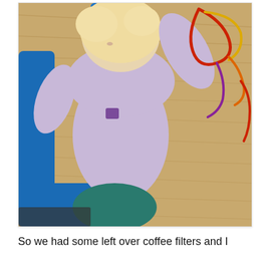[Figure (photo): Overhead/bird's-eye view photograph of a young toddler with blonde hair wearing a lavender/light purple long-sleeve shirt, sitting in a blue plastic chair at a wooden table. The child is holding colorful pipe cleaners (red, yellow, orange, purple) and appears to be playing with them. The child is also wearing teal/dark green pants.]
So we had some left over coffee filters and I